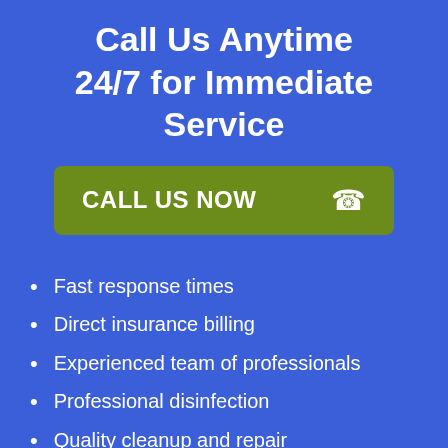Call Us Anytime 24/7 for Immediate Service
[Figure (other): Green call-to-action button with text 'CALL US NOW' and a phone handset icon]
Fast response times
Direct insurance billing
Experienced team of professionals
Professional disinfection
Quality cleanup and repair
Mold prevention techniques
Odor removal